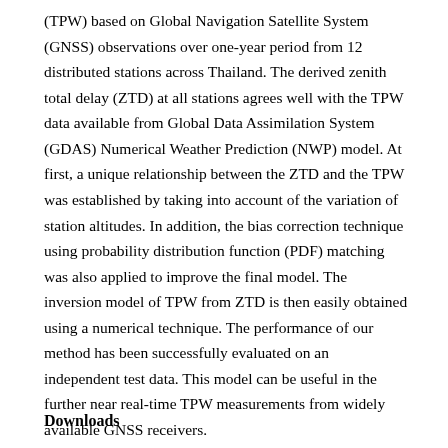(TPW) based on Global Navigation Satellite System (GNSS) observations over one-year period from 12 distributed stations across Thailand. The derived zenith total delay (ZTD) at all stations agrees well with the TPW data available from Global Data Assimilation System (GDAS) Numerical Weather Prediction (NWP) model. At first, a unique relationship between the ZTD and the TPW was established by taking into account of the variation of station altitudes. In addition, the bias correction technique using probability distribution function (PDF) matching was also applied to improve the final model. The inversion model of TPW from ZTD is then easily obtained using a numerical technique. The performance of our method has been successfully evaluated on an independent test data. This model can be useful in the further near real-time TPW measurements from widely available GNSS receivers.
Downloads